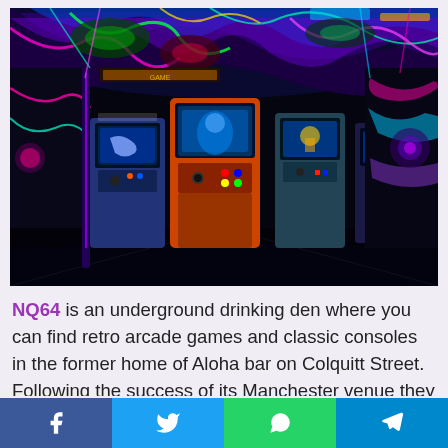[Figure (photo): Interior of NQ64 arcade bar showing retro arcade gaming machines under colorful UV/neon lit ceiling with psychedelic painted walls. Machines include Pac-Man style cabinets. The room is dark with vivid blue, green, pink, and purple neon colors.]
NQ64 is an underground drinking den where you can find retro arcade games and classic consoles in the former home of Aloha bar on Colquitt Street. Following the success of its Manchester venue they have expanded to Liverpool. Gamers can try their luck on Pac-Man, Donkey Kong and Space Invaders as well as playing on consoles such as the N64 and